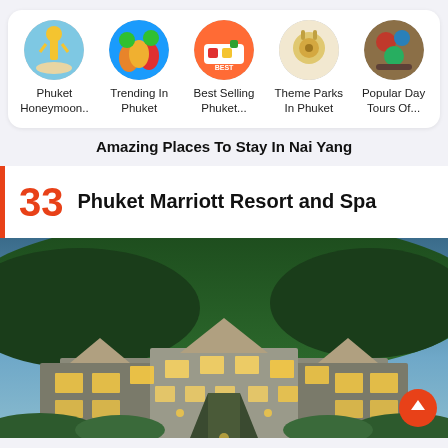[Figure (other): Horizontal scrollable category icons: Phuket Honeymoon, Trending In Phuket, Best Selling Phuket, Theme Parks In Phuket, Popular Day Tours Of...]
Amazing Places To Stay In Nai Yang
33 Phuket Marriott Resort and Spa
[Figure (photo): Aerial dusk view of Phuket Marriott Resort and Spa with illuminated buildings, lush green hillside in background]